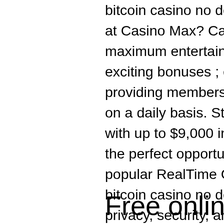bitcoin casino no deposit bonus 2022. Why Play at Casino Max? CasinoMax provides the maximum entertainment boosted via the most exciting bonuses ; every day is a bonus day providing members with lots of reasons to return on a daily basis. Starting your winning adventure with up to $9,000 in bonus funds allow members the perfect opportunity to explore the most popular RealTime Gaming titles, usa friendly bitcoin casino no deposit bonus 2022. Focused on privacy, security, and safety, Casino Max is a brand new online destination well worth visiting and could soon be one of the most popular gaming hotspots for international as well as USA players.
Free online games of poker